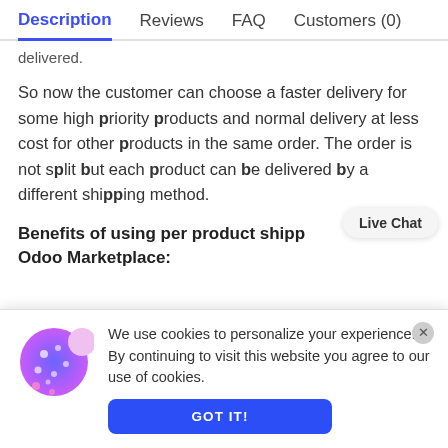Description | Reviews | FAQ | Customers (0)
delivered.
So now the customer can choose a faster delivery for some high priority products and normal delivery at less cost for other products in the same order. The order is not split but each product can be delivered by a different shipping method.
Benefits of using per product shipp…
Odoo Marketplace:
We use cookies to personalize your experience. By continuing to visit this website you agree to our use of cookies.